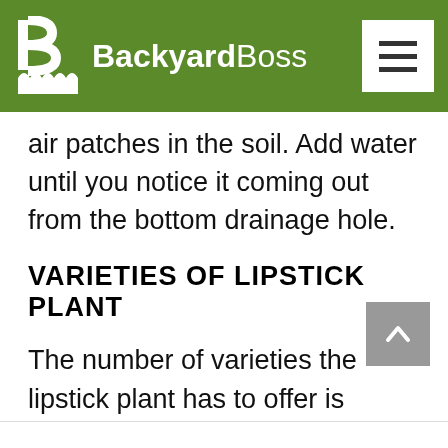BackyardBoss
air patches in the soil. Add water until you notice it coming out from the bottom drainage hole.
VARIETIES OF LIPSTICK PLANT
The number of varieties the lipstick plant has to offer is overwhelming, to say the least. Some of the most common types are: